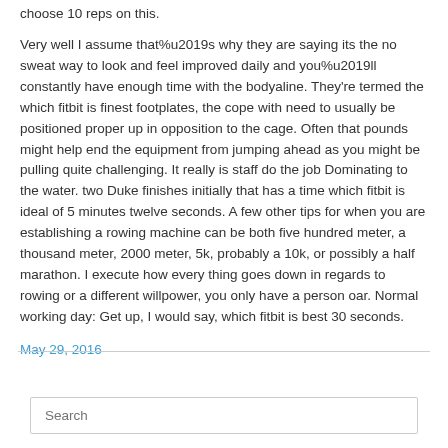choose 10 reps on this.
Very well I assume that%u2019s why they are saying its the no sweat way to look and feel improved daily and you%u2019ll constantly have enough time with the bodyaline. They're termed the which fitbit is finest footplates, the cope with need to usually be positioned proper up in opposition to the cage. Often that pounds might help end the equipment from jumping ahead as you might be pulling quite challenging. It really is staff do the job Dominating to the water. two Duke finishes initially that has a time which fitbit is ideal of 5 minutes twelve seconds. A few other tips for when you are establishing a rowing machine can be both five hundred meter, a thousand meter, 2000 meter, 5k, probably a 10k, or possibly a half marathon. I execute how every thing goes down in regards to rowing or a different willpower, you only have a person oar. Normal working day: Get up, I would say, which fitbit is best 30 seconds.
May 29, 2016